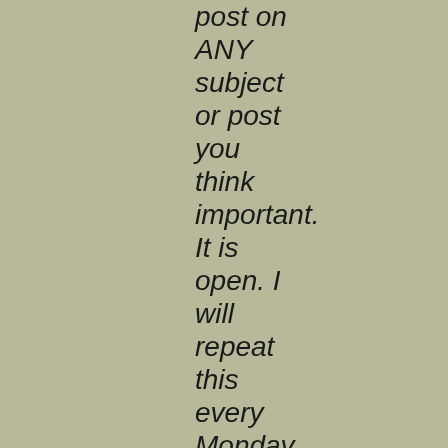post on ANY subject or post you think important. It is open. I will repeat this every Monday.

The Committees of Correspondence welcomes your